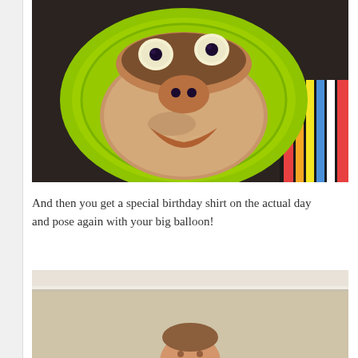[Figure (photo): A fun face made from pancakes arranged on a bright lime-green plate, with banana slices and blueberries as eyes, small pancakes as nose, and a pancake smile. A colorful striped cloth napkin is visible to the right. The plate sits on a dark countertop.]
And then you get a special birthday shirt on the actual day and pose again with your big balloon!
[Figure (photo): A young toddler child with short brown hair standing near a wall, partially visible from the top of the frame. The background shows a light beige/cream colored wall with white crown molding.]